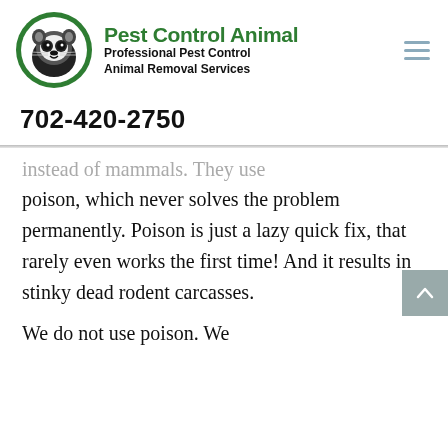[Figure (logo): Pest Control Animal logo: circular green-bordered emblem with a raccoon illustration, next to green bold text 'Pest Control Animal' and subtitle 'Professional Pest Control Animal Removal Services']
702-420-2750
instead of mammals. They use poison, which never solves the problem permanently. Poison is just a lazy quick fix, that rarely even works the first time! And it results in stinky dead rodent carcasses.
We do not use poison. We